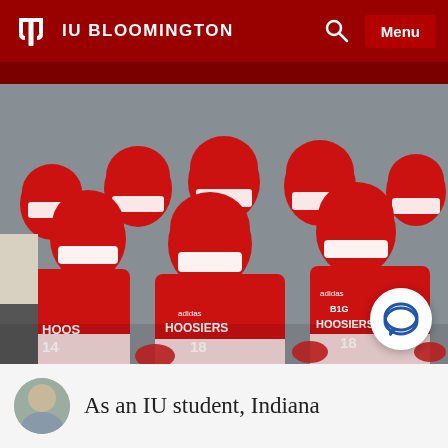IU BLOOMINGTON
[Figure (photo): Indiana University Hoosiers football team players wearing red helmets and red jerseys with HOOSIERS printed on them, crouching in a group, ready to take the field. Numbers 18 and 14 visible on jerseys.]
As an IU student, Indiana